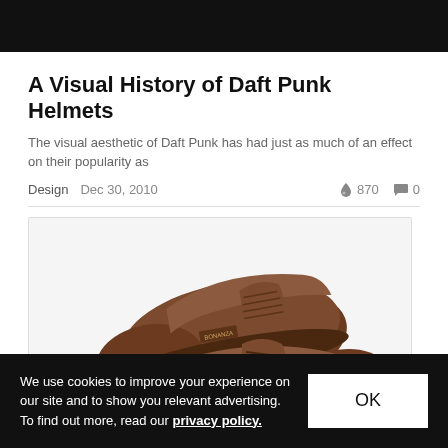A Visual History of Daft Punk Helmets
The visual aesthetic of Daft Punk has had just as much of an effect on their popularity as
Design   Dec 30, 2010   🔥 870   💬 0
[Figure (photo): A pair of brown leather lace-up casual shoes photographed from a slightly elevated angle, showing both shoes with visible brand labels.]
We use cookies to improve your experience on our site and to show you relevant advertising. To find out more, read our privacy policy.